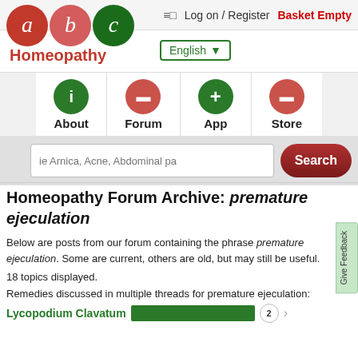≡□  Log on / Register  Basket Empty
[Figure (logo): ABC Homeopathy logo with red 'a', pink 'b', green 'c' circles and 'Homeopathy' text in red below]
English ▼
[Figure (infographic): Navigation icons row: About (green circle with i), Forum (red circle with rectangle), App (green circle with plus), Store (red circle with rectangle)]
ie Arnica, Acne, Abdominal pa
Homeopathy Forum Archive: premature ejeculation
Below are posts from our forum containing the phrase premature ejeculation. Some are current, others are old, but may still be useful.
18 topics displayed.
Remedies discussed in multiple threads for premature ejeculation:
Lycopodium Clavatum  [bar] 2